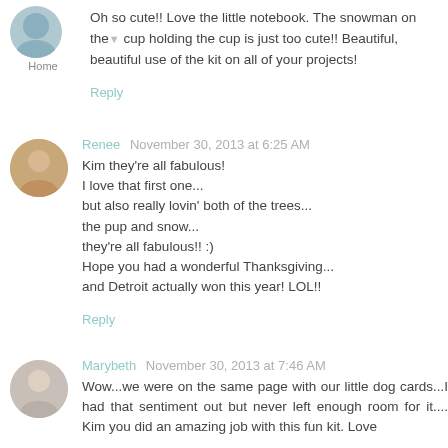Oh so cute!! Love the little notebook. The snowman on the cup holding the cup is just too cute!! Beautiful, beautiful use of the kit on all of your projects!
Reply
Renee  November 30, 2013 at 6:25 AM
Kim they're all fabulous!
I love that first one...
but also really lovin' both of the trees...
the pup and snow...
they're all fabulous!! :)
Hope you had a wonderful Thanksgiving...
and Detroit actually won this year! LOL!!
Reply
Marybeth  November 30, 2013 at 7:46 AM
Wow...we were on the same page with our little dog cards...I had that sentiment out but never left enough room for it.... Kim you did an amazing job with this fun kit. Love